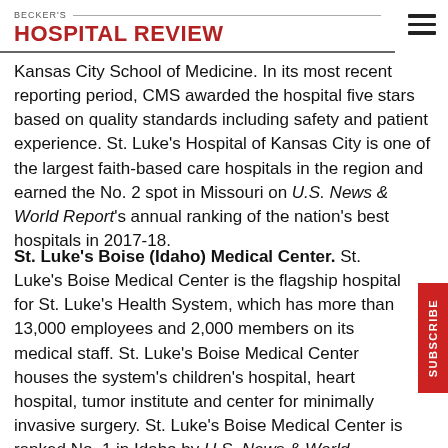BECKER'S HOSPITAL REVIEW
Kansas City School of Medicine. In its most recent reporting period, CMS awarded the hospital five stars based on quality standards including safety and patient experience. St. Luke's Hospital of Kansas City is one of the largest faith-based care hospitals in the region and earned the No. 2 spot in Missouri on U.S. News & World Report's annual ranking of the nation's best hospitals in 2017-18.
St. Luke's Boise (Idaho) Medical Center. St. Luke's Boise Medical Center is the flagship hospital for St. Luke's Health System, which has more than 13,000 employees and 2,000 members on its medical staff. St. Luke's Boise Medical Center houses the system's children's hospital, heart hospital, tumor institute and center for minimally invasive surgery. St. Luke's Boise Medical Center is ranked No. 1 in Idaho by U.S. News & World Report, and IBM Watson Health ranked it a top 50 cardiovascular hospital.